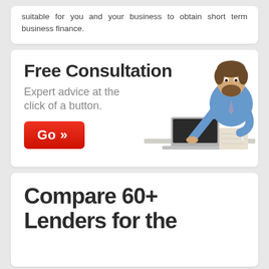suitable for you and your business to obtain short term business finance.
[Figure (infographic): Promotional banner for Free Consultation. Large bold text 'Free Consultation', subtitle 'Expert advice at the click of a button.', red 'Go »' button, and photo of a businessman sitting at a desk with a laptop and notebook, smiling at camera.]
Compare 60+ Lenders for the